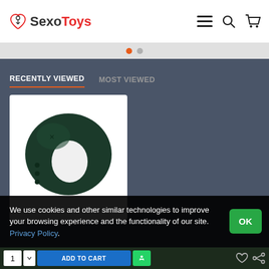SexoToys — navigation header with menu, search, and cart icons
RECENTLY VIEWED | MOST VIEWED
[Figure (photo): Dark green silicone vibrating ring product photo on white background]
We use cookies and other similar technologies to improve your browsing experience and the functionality of our site. Privacy Policy.
OK